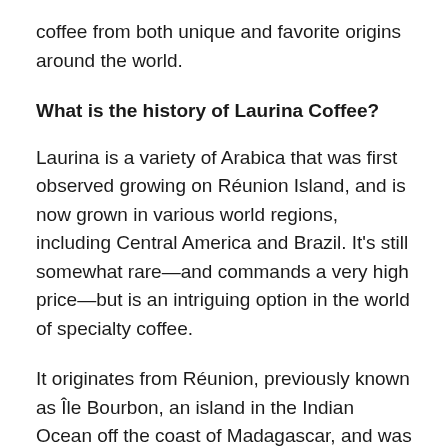coffee from both unique and favorite origins around the world.
What is the history of Laurina Coffee?
Laurina is a variety of Arabica that was first observed growing on Réunion Island, and is now grown in various world regions, including Central America and Brazil. It's still somewhat rare—and commands a very high price—but is an intriguing option in the world of specialty coffee.
It originates from Réunion, previously known as Île Bourbon, an island in the Indian Ocean off the coast of Madagascar, and was discovered in the 18th century and soon spread eastwards. In the 19th century, however, its popularity steeply declined, in part because cane sugar became popular and it was more difficult to grow than other plants because it...